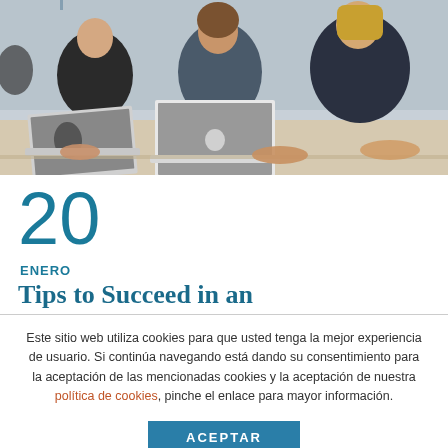[Figure (photo): Three students sitting at a desk using laptop computers, working together in what appears to be a classroom or study environment.]
20
ENERO
Tips to Succeed in an
Este sitio web utiliza cookies para que usted tenga la mejor experiencia de usuario. Si continúa navegando está dando su consentimiento para la aceptación de las mencionadas cookies y la aceptación de nuestra política de cookies, pinche el enlace para mayor información.
ACEPTAR